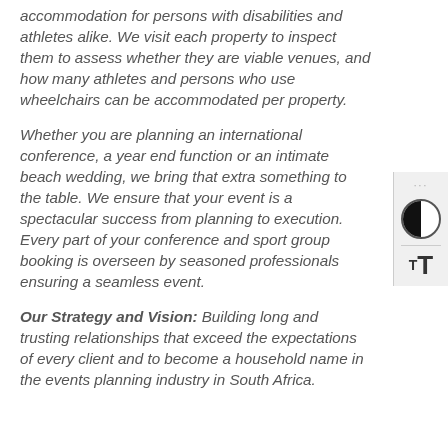accommodation for persons with disabilities and athletes alike. We visit each property to inspect them to assess whether they are viable venues, and how many athletes and persons who use wheelchairs can be accommodated per property.
Whether you are planning an international conference, a year end function or an intimate beach wedding, we bring that extra something to the table. We ensure that your event is a spectacular success from planning to execution. Every part of your conference and sport group booking is overseen by seasoned professionals ensuring a seamless event.
Our Strategy and Vision: Building long and trusting relationships that exceed the expectations of every client and to become a household name in the events planning industry in South Africa.